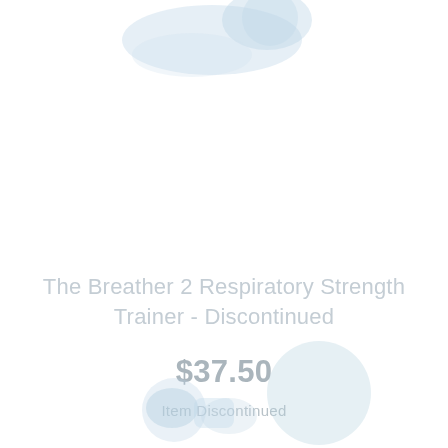[Figure (photo): Product image of The Breather 2 Respiratory Strength Trainer device, shown at top of page in light blue/white tones, partially cropped]
The Breather 2 Respiratory Strength Trainer - Discontinued
$37.50
Item Discontinued
(1)
[Figure (photo): Product image thumbnails at bottom of page showing The Breather 2 device from multiple angles, with decorative bubble circles]